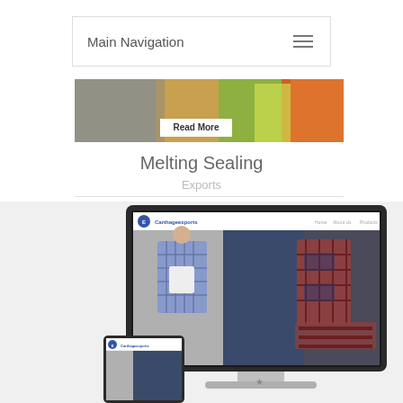Main Navigation
[Figure (photo): Partial hero banner image showing workers in high-visibility vests, with a 'Read More' button overlay]
Melting Sealing
Exports
[Figure (screenshot): Screenshot of a website called 'Carthage Exports' shown on a desktop monitor mockup and a tablet mockup. The website displays clothing items including plaid/checked shirts on mannequins.]